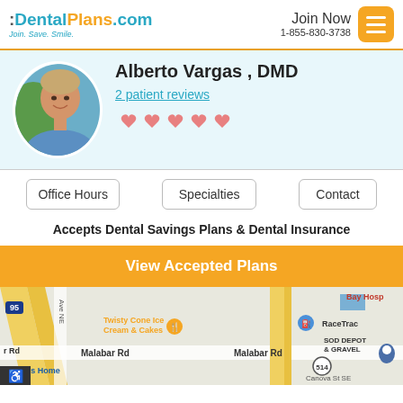:DentalPlans.com Join. Save. Smile. | Join Now 1-855-830-3738
[Figure (photo): Headshot photo of Dr. Alberto Vargas, DMD, a middle-aged man in a blue shirt smiling, with a circular crop]
Alberto Vargas , DMD
2 patient reviews
[Figure (infographic): Five pink/red heart icons representing 5-star rating]
Office Hours
Specialties
Contact
Accepts Dental Savings Plans & Dental Insurance
View Accepted Plans
[Figure (map): Google Maps screenshot showing area around Malabar Rd with landmarks: Twisty Cone Ice Cream & Cakes, RaceTrac, SOD DEPOT & GRAVEL, Bay Hospital, Interstate 95, Route 514, Canova St SE]